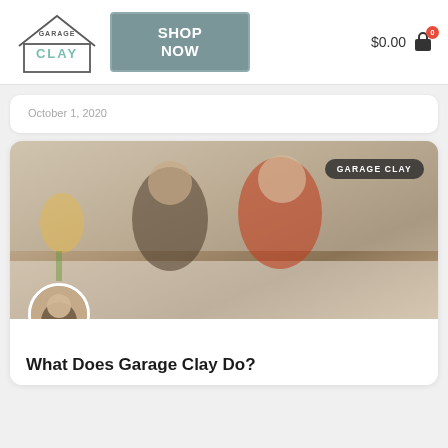[Figure (logo): Garage Clay logo with house outline graphic and text]
[Figure (other): Shop Now button in teal/gray]
$0.00
October 1, 2020
[Figure (photo): Two women smiling behind a counter in a bright rustic studio with a Garage Clay tag overlay]
What Does Garage Clay Do?